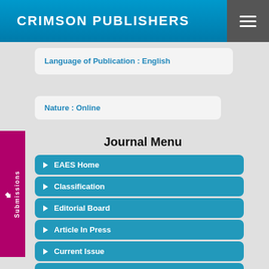CRIMSON PUBLISHERS
Language of Publication : English
Nature : Online
Journal Menu
EAES Home
Classification
Editorial Board
Article In Press
Current Issue
Archive